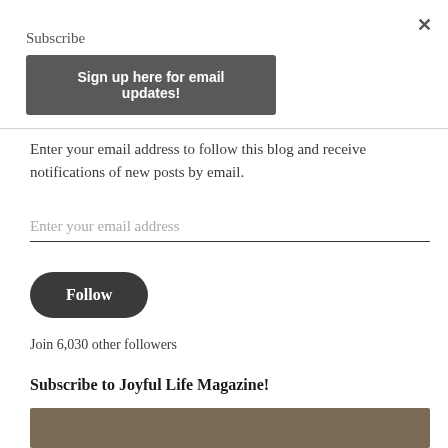×
Subscribe
Sign up here for email updates!
Enter your email address to follow this blog and receive notifications of new posts by email.
Enter your email address
Follow
Join 6,030 other followers
Subscribe to Joyful Life Magazine!
[Figure (photo): Bottom portion of a magazine image, partially visible]